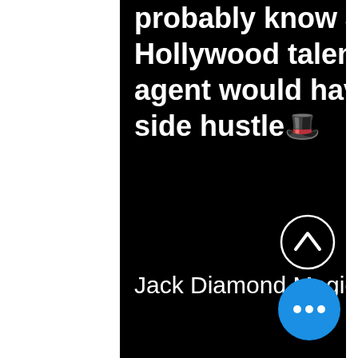probably know Jack... Diamond, Hollywood talent agent. Like any good agent would have, there has to be a side hustle🎩
Jack Diamond Magic | Magician a
[Figure (other): Scroll up chevron button — dark circle with white upward chevron]
[Figure (other): More options button — solid blue circle with three white dots]